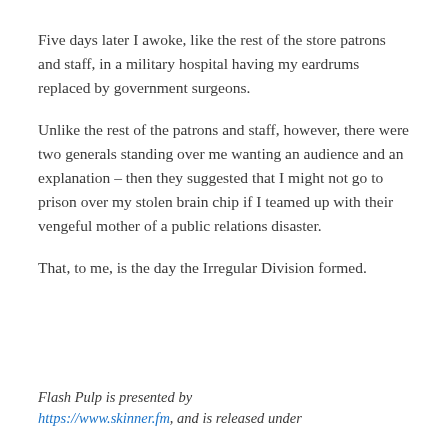Five days later I awoke, like the rest of the store patrons and staff, in a military hospital having my eardrums replaced by government surgeons.
Unlike the rest of the patrons and staff, however, there were two generals standing over me wanting an audience and an explanation – then they suggested that I might not go to prison over my stolen brain chip if I teamed up with their vengeful mother of a public relations disaster.
That, to me, is the day the Irregular Division formed.
Flash Pulp is presented by https://www.skinner.fm, and is released under